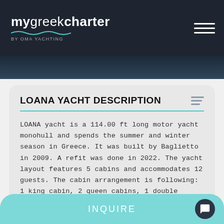mygreekcharter by OMA YACHTING
LOANA YACHT DESCRIPTION
LOANA yacht is a 114.00 ft long motor yacht monohull and spends the summer and winter season in Greece. It was built by Baglietto in 2009. A refit was done in 2022. The yacht layout features 5 cabins and accommodates 12 guests. The cabin arrangement is following: 1 king cabin, 2 queen cabins, 1 double cabin, 1 twin cabin, 1 pullman cabin.
INQUIRE